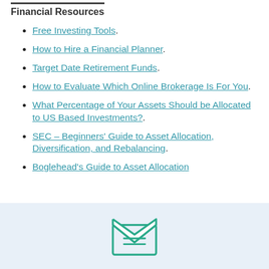Free Investing Tools.
How to Hire a Financial Planner.
Target Date Retirement Funds.
How to Evaluate Which Online Brokerage Is For You.
What Percentage of Your Assets Should be Allocated to US Based Investments?.
SEC – Beginners' Guide to Asset Allocation, Diversification, and Rebalancing.
Boglehead's Guide to Asset Allocation
[Figure (illustration): An envelope icon with lines on it suggesting a letter, rendered in teal/green outline style, partially visible at bottom of page.]